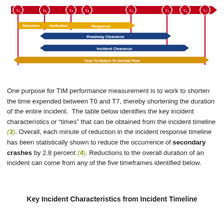[Figure (infographic): TIM (Traffic Incident Management) timeline diagram showing phases from T0 to T7 with colored arrows indicating Detection, Verification, Response, Roadway Clearance, Incident Clearance, and Time To Return To Normal Flow phases.]
One purpose for TIM performance measurement is to work to shorten the time expended between T0 and T7, thereby shortening the duration of the entire incident. The table below identifies the key incident characteristics or "times" that can be obtained from the incident timeline (3). Overall, each minute of reduction in the incident response timeline has been statistically shown to reduce the occurrence of secondary crashes by 2.8 percent (4). Reductions to the overall duration of an incident can come from any of the five timeframes identified below.
Key Incident Characteristics from Incident Timeline